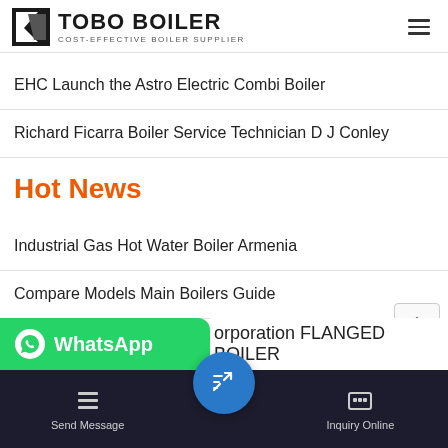TOBO BOILER — COST-EFFECTIVE BOILER SUPPLIER
EHC Launch the Astro Electric Combi Boiler
Richard Ficarra Boiler Service Technician D J Conley
Hot News
Industrial Gas Hot Water Boiler Armenia
Compare Models Main Boilers Guide
Honeywell L7224U1002 Electronic Oil Boiler Aquastat eBay
orporation FLANGED BOILER
Send Message | Inquiry Online